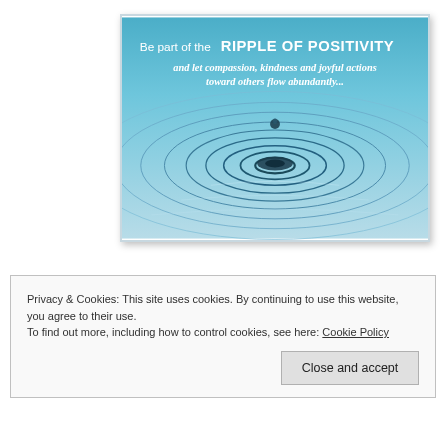[Figure (illustration): Water ripple image with text overlay: 'Be part of the RIPPLE OF POSITIVITY and let compassion, kindness and joyful actions toward others flow abundantly...']
Privacy & Cookies: This site uses cookies. By continuing to use this website, you agree to their use.
To find out more, including how to control cookies, see here: Cookie Policy